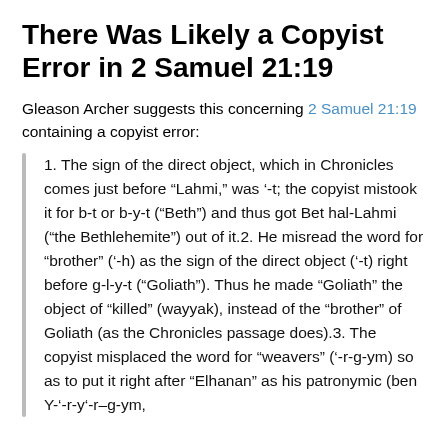There Was Likely a Copyist Error in 2 Samuel 21:19
Gleason Archer suggests this concerning 2 Samuel 21:19 containing a copyist error:
1. The sign of the direct object, which in Chronicles comes just before “Lahmi,” was ‘-t; the copyist mistook it for b-t or b-y-t (“Beth”) and thus got Bet hal-Lahmi (“the Bethlehemite”) out of it.2. He misread the word for “brother” (‘-h) as the sign of the direct object (‘-t) right before g-l-y-t (“Goliath”). Thus he made “Goliath” the object of “killed” (wayyak), instead of the “brother” of Goliath (as the Chronicles passage does).3. The copyist misplaced the word for “weavers” (‘-r-g-ym) so as to put it right after “Elhanan” as his patronymic (ben Y-‘-r-y‘-r–g-ym,